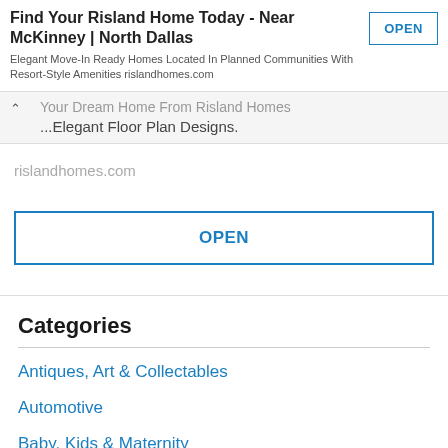[Figure (screenshot): Advertisement banner for Risland Homes with title, subtitle, and OPEN button]
Find Your Risland Home Today - Near McKinney | North Dallas
Elegant Move-In Ready Homes Located In Planned Communities With Resort-Style Amenities rislandhomes.com
Your Dream Home From Risland Homes With Elegant Floor Plan Designs.
rislandhomes.com
Categories
Antiques, Art & Collectables
Automotive
Baby, Kids & Maternity